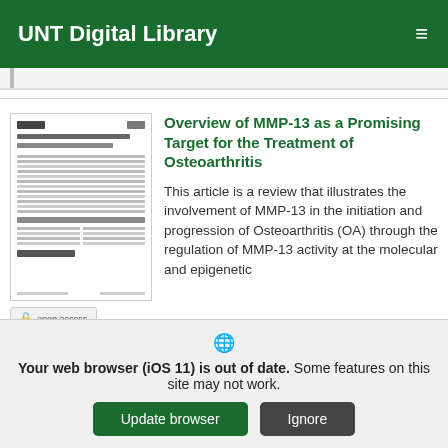UNT Digital Library
[Figure (screenshot): Blurred thumbnail preview of a scientific article document]
Overview of MMP-13 as a Promising Target for the Treatment of Osteoarthritis
This article is a review that illustrates the involvement of MMP-13 in the initiation and progression of Osteoarthritis (OA) through the regulation of MMP-13 activity at the molecular and epigenetic
Your web browser (iOS 11) is out of date. Some features on this site may not work.
Update browser   Ignore